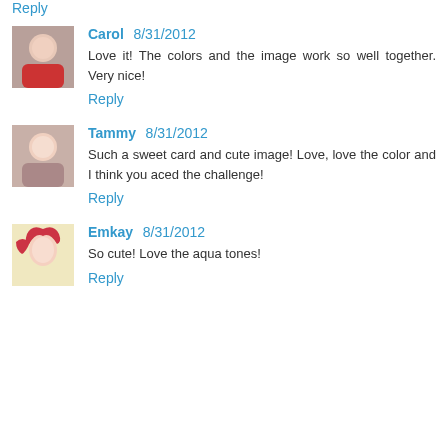Reply
Carol 8/31/2012
Love it! The colors and the image work so well together. Very nice!
Reply
Tammy 8/31/2012
Such a sweet card and cute image! Love, love the color and I think you aced the challenge!
Reply
Emkay 8/31/2012
So cute! Love the aqua tones!
Reply